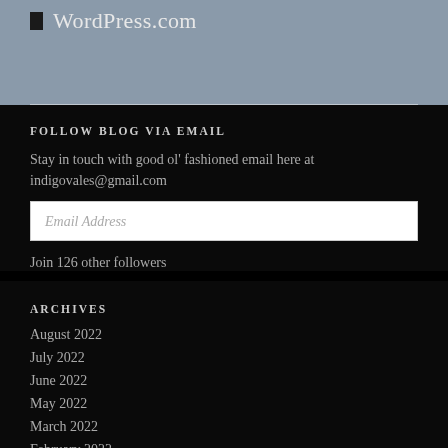WordPress.com
FOLLOW BLOG VIA EMAIL
Stay in touch with good ol' fashioned email here at indigovales@gmail.com
Email Address
Join 126 other followers
ARCHIVES
August 2022
July 2022
June 2022
May 2022
March 2022
February 2022
October 2021
July 2021